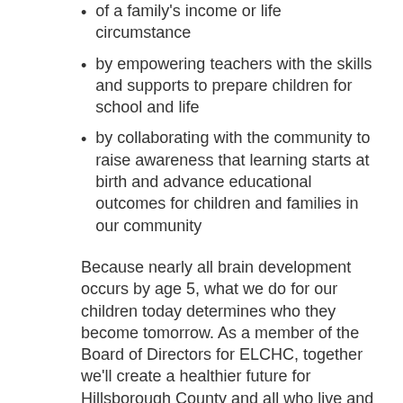of a family's income or life circumstance
by empowering teachers with the skills and supports to prepare children for school and life
by collaborating with the community to raise awareness that learning starts at birth and advance educational outcomes for children and families in our community
Because nearly all brain development occurs by age 5, what we do for our children today determines who they become tomorrow. As a member of the Board of Directors for ELCHC, together we'll create a healthier future for Hillsborough County and all who live and work here.
The Board of Directors meets